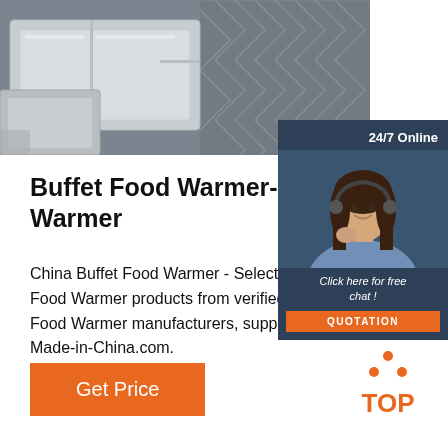[Figure (photo): Product photo of stainless steel buffet food warmer trays with geometric pattern background]
[Figure (infographic): 24/7 Online chat widget with female customer service agent, 'Click here for free chat!' text and QUOTATION button]
Buffet Food Warmer-China Buffet Food Warmer
China Buffet Food Warmer - Select 2022 Buffet Food Warmer products from verified China Buffet Food Warmer manufacturers, suppliers on Made-in-China.com.
[Figure (logo): TOP logo with orange dots arranged in triangle above the word TOP in orange]
Get Price